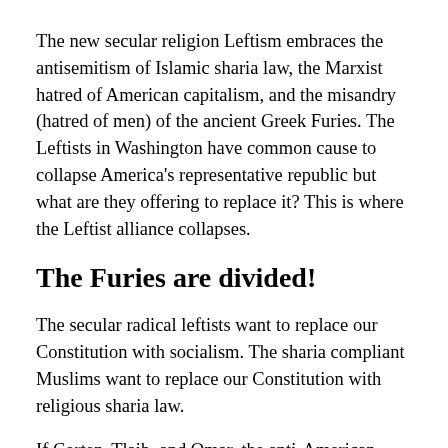The new secular religion Leftism embraces the antisemitism of Islamic sharia law, the Marxist hatred of American capitalism, and the misandry (hatred of men) of the ancient Greek Furies. The Leftists in Washington have common cause to collapse America's representative republic but what are they offering to replace it? This is where the Leftist alliance collapses.
The Furies are divided!
The secular radical leftists want to replace our Constitution with socialism. The sharia compliant Muslims want to replace our Constitution with religious sharia law.
If Cortez, Tlaib, and Omar, the anti-American Furies who represent the leftist Democrat party, successfully implement their anti-American, pro-socialist,